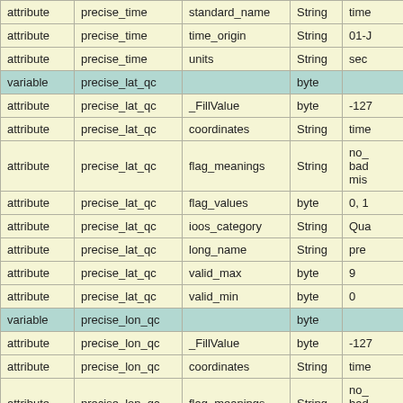|  | variable/attribute name | attribute name | type | value |
| --- | --- | --- | --- | --- |
| attribute | precise_time | standard_name | String | time... |
| attribute | precise_time | time_origin | String | 01-... |
| attribute | precise_time | units | String | sec... |
| variable | precise_lat_qc |  | byte |  |
| attribute | precise_lat_qc | _FillValue | byte | -127 |
| attribute | precise_lat_qc | coordinates | String | time... |
| attribute | precise_lat_qc | flag_meanings | String | no_
bad...
mis... |
| attribute | precise_lat_qc | flag_values | byte | 0, 1... |
| attribute | precise_lat_qc | ioos_category | String | Qua... |
| attribute | precise_lat_qc | long_name | String | pre... |
| attribute | precise_lat_qc | valid_max | byte | 9 |
| attribute | precise_lat_qc | valid_min | byte | 0 |
| variable | precise_lon_qc |  | byte |  |
| attribute | precise_lon_qc | _FillValue | byte | -127 |
| attribute | precise_lon_qc | coordinates | String | time... |
| attribute | precise_lon_qc | flag_meanings | String | no_
bad...
mis... |
| attribute | precise_lon_qc | flag_values | byte | 0, 1... |